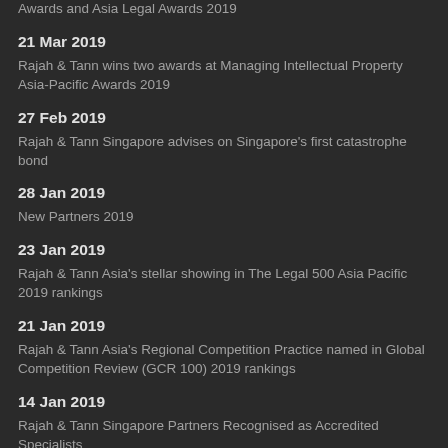Awards and Asia Legal Awards 2019
21 Mar 2019
Rajah & Tann wins two awards at Managing Intellectual Property Asia-Pacific Awards 2019
27 Feb 2019
Rajah & Tann Singapore advises on Singapore's first catastrophe bond
28 Jan 2019
New Partners 2019
23 Jan 2019
Rajah & Tann Asia's stellar showing in The Legal 500 Asia Pacific 2019 rankings
21 Jan 2019
Rajah & Tann Asia's Regional Competition Practice named in Global Competition Review (GCR 100) 2019 rankings
14 Jan 2019
Rajah & Tann Singapore Partners Recognised as Accredited Specialists